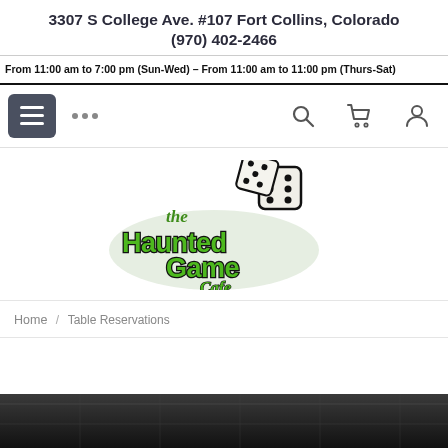3307 S College Ave. #107 Fort Collins, Colorado
(970) 402-2466
From 11:00 am to 7:00 pm (Sun-Wed) – From 11:00 am to 11:00 pm (Thurs-Sat)
[Figure (screenshot): Navigation bar with hamburger menu button, ellipsis dots, search icon, cart icon, and user/account icon]
[Figure (logo): The Haunted Game Cafe logo — stylized green and black lettering with dice]
Home / Table Reservations
[Figure (photo): Dark ceiling photo of the interior of the cafe, partially visible at bottom of page]